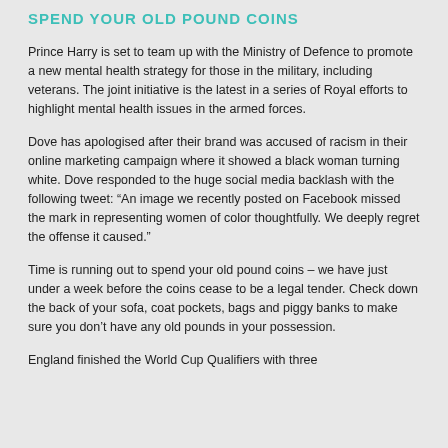SPEND YOUR OLD POUND COINS
Prince Harry is set to team up with the Ministry of Defence to promote a new mental health strategy for those in the military, including veterans. The joint initiative is the latest in a series of Royal efforts to highlight mental health issues in the armed forces.
Dove has apologised after their brand was accused of racism in their online marketing campaign where it showed a black woman turning white. Dove responded to the huge social media backlash with the following tweet: “An image we recently posted on Facebook missed the mark in representing women of color thoughtfully. We deeply regret the offense it caused.”
Time is running out to spend your old pound coins – we have just under a week before the coins cease to be a legal tender. Check down the back of your sofa, coat pockets, bags and piggy banks to make sure you don’t have any old pounds in your possession.
England finished the World Cup Qualifiers with three